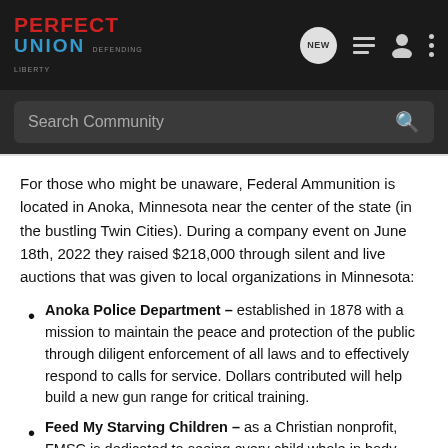Perfect Union – Defending Liberty | Navigation: NEW, list, profile, more | Search Community
For those who might be unaware, Federal Ammunition is located in Anoka, Minnesota near the center of the state (in the bustling Twin Cities). During a company event on June 18th, 2022 they raised $218,000 through silent and live auctions that was given to local organizations in Minnesota:
Anoka Police Department – established in 1878 with a mission to maintain the peace and protection of the public through diligent enforcement of all laws and to effectively respond to calls for service. Dollars contributed will help build a new gun range for critical training.
Feed My Starving Children – as a Christian nonprofit, FMSC is dedicated to seeing every child whole in body